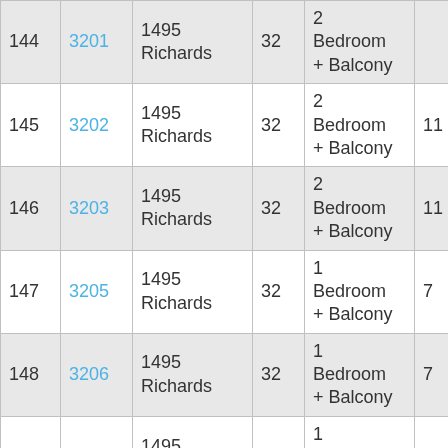| # | Unit | Address | Floor | Type |  |
| --- | --- | --- | --- | --- | --- |
| 144 | 3201 | 1495 Richards | 32 | 2 Bedroom + Balcony |  |
| 145 | 3202 | 1495 Richards | 32 | 2 Bedroom + Balcony | 11 |
| 146 | 3203 | 1495 Richards | 32 | 2 Bedroom + Balcony | 11 |
| 147 | 3205 | 1495 Richards | 32 | 1 Bedroom + Balcony | 7 |
| 148 | 3206 | 1495 Richards | 32 | 1 Bedroom + Balcony | 7 |
| 149 | 3207 | 1495 Richards | 32 | 1 Bedroom + Balcony | 5 |
| 150 | 3208 | 1495 Richards | 32 | 1 Bedroom + Balcony | 7 |